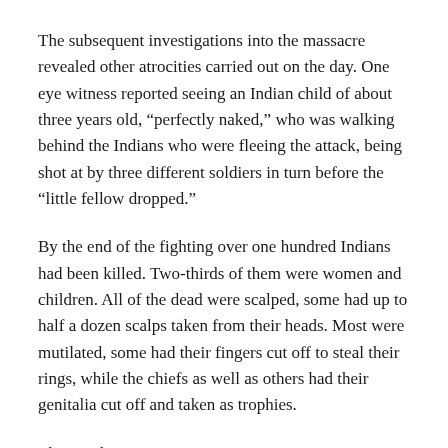The subsequent investigations into the massacre revealed other atrocities carried out on the day. One eye witness reported seeing an Indian child of about three years old, “perfectly naked,” who was walking behind the Indians who were fleeing the attack, being shot at by three different soldiers in turn before the “little fellow dropped.”
By the end of the fighting over one hundred Indians had been killed. Two-thirds of them were women and children. All of the dead were scalped, some had up to half a dozen scalps taken from their heads. Most were mutilated, some had their fingers cut off to steal their rings, while the chiefs as well as others had their genitalia cut off and taken as trophies.
The mutilations were: